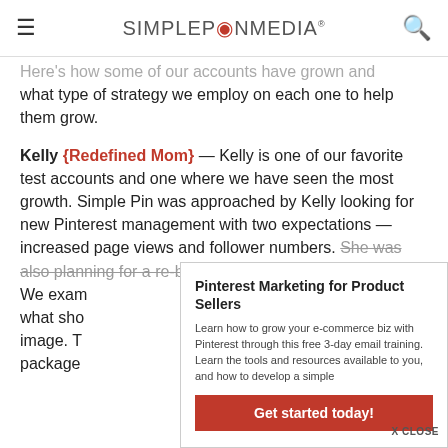SIMPLE PIN MEDIA
Here's how some of our accounts have grown and what type of strategy we employ on each one to help them grow.
Kelly {Redefined Mom} — Kelly is one of our favorite test accounts and one where we have seen the most growth. Simple Pin was approached by Kelly looking for new Pinterest management with two expectations — increased page views and follower numbers. She was also planning for a re-branding. We exam what sho image. Th package
Pinterest Marketing for Product Sellers
Learn how to grow your e-commerce biz with Pinterest through this free 3-day email training. Learn the tools and resources available to you, and how to develop a simple
Get started today!
X CLOSE